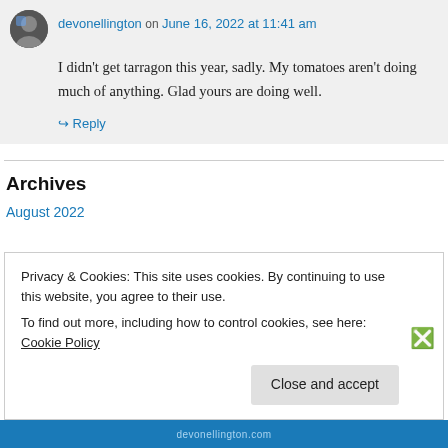devonellington on June 16, 2022 at 11:41 am
I didn't get tarragon this year, sadly. My tomatoes aren't doing much of anything. Glad yours are doing well.
↳ Reply
Archives
August 2022
Privacy & Cookies: This site uses cookies. By continuing to use this website, you agree to their use.
To find out more, including how to control cookies, see here: Cookie Policy
Close and accept